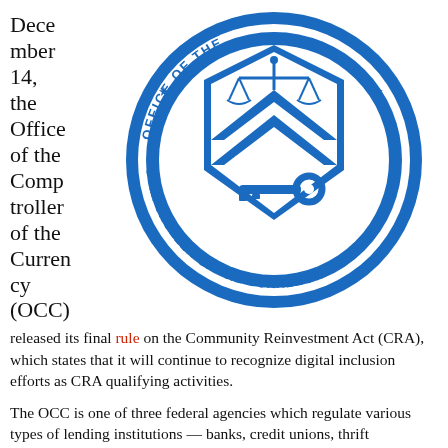December 14, the Office of the Comptroller of the Currency (OCC)
[Figure (logo): Official seal of the Office of the Comptroller of the Currency (OCC) — blue circular seal with scales of justice, key, and chevron shield]
released its final rule on the Community Reinvestment Act (CRA), which states that it will continue to recognize digital inclusion efforts as CRA qualifying activities.
The OCC is one of three federal agencies which regulate various types of lending institutions — banks, credit unions, thrift institutions, etc. These agencies